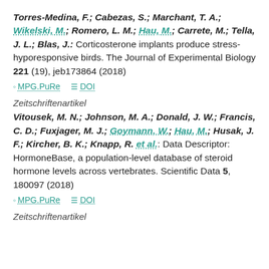Torres-Medina, F.; Cabezas, S.; Marchant, T. A.; Wikelski, M.; Romero, L. M.; Hau, M.; Carrete, M.; Tella, J. L.; Blas, J.: Corticosterone implants produce stress-hyporesponsive birds. The Journal of Experimental Biology 221 (19), jeb173864 (2018)
MPG.PuRe   DOI
Zeitschriftenartikel
Vitousek, M. N.; Johnson, M. A.; Donald, J. W.; Francis, C. D.; Fuxjager, M. J.; Goymann, W.; Hau, M.; Husak, J. F.; Kircher, B. K.; Knapp, R. et al.: Data Descriptor: HormoneBase, a population-level database of steroid hormone levels across vertebrates. Scientific Data 5, 180097 (2018)
MPG.PuRe   DOI
Zeitschriftenartikel